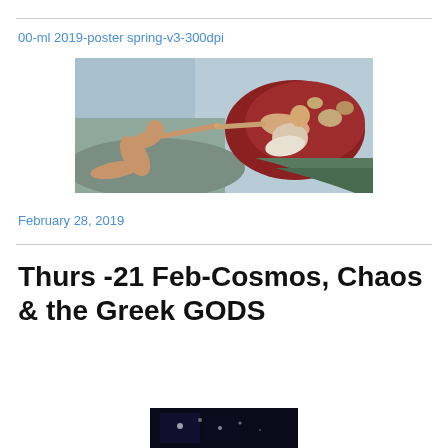00-ml 2019-poster spring-v3-300dpi
[Figure (photo): Michelangelo's Creation of Adam from the Sistine Chapel ceiling — Adam on the left reaches toward God on the right surrounded by angels]
February 28, 2019
Thurs -21 Feb-Cosmos, Chaos & the Greek GODS
[Figure (photo): Dark image partially visible at bottom of page]